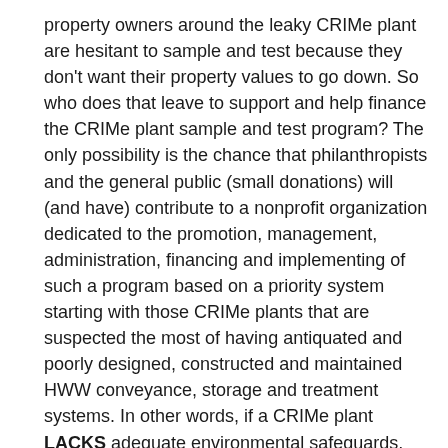property owners around the leaky CRIMe plant are hesitant to sample and test because they don't want their property values to go down. So who does that leave to support and help finance the CRIMe plant sample and test program? The only possibility is the chance that philanthropists and the general public (small donations) will (and have) contribute to a nonprofit organization dedicated to the promotion, management, administration, financing and implementing of such a program based on a priority system starting with those CRIMe plants that are suspected the most of having antiquated and poorly designed, constructed and maintained HWW conveyance, storage and treatment systems. In other words, if a CRIMe plant LACKS adequate environmental safeguards, leakage and pollution to the environment is occurring and those plants should be targeted in the Leaky CRIMe Plant Sample & Test Program.
If Michigan and other states cared enough about the